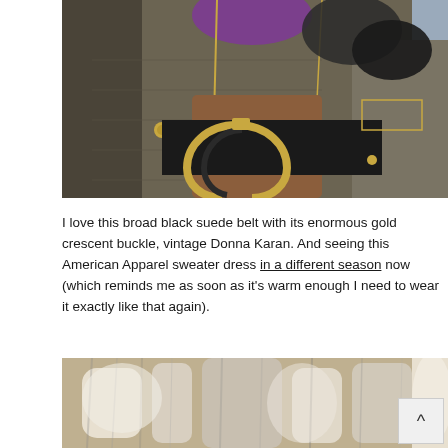[Figure (photo): Close-up of a person wearing an olive/khaki quilted jacket with gold zipper details, a black suede wide belt with a large gold crescent buckle, and a purple top underneath. The person is holding something dark (gloves). Blurred blue-grey background.]
I love this broad black suede belt with its enormous gold crescent buckle, vintage Donna Karan. And seeing this American Apparel sweater dress in a different season now (which reminds me as soon as it's warm enough I need to wear it exactly like that again).
[Figure (photo): Close-up of fur texture, beige/cream and grey fur, partially visible at the bottom of the page.]